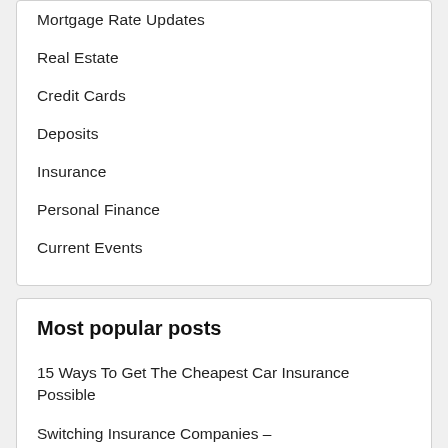Mortgage Rate Updates
Real Estate
Credit Cards
Deposits
Insurance
Personal Finance
Current Events
Most popular posts
15 Ways To Get The Cheapest Car Insurance Possible
Switching Insurance Companies – How and Why to Do It